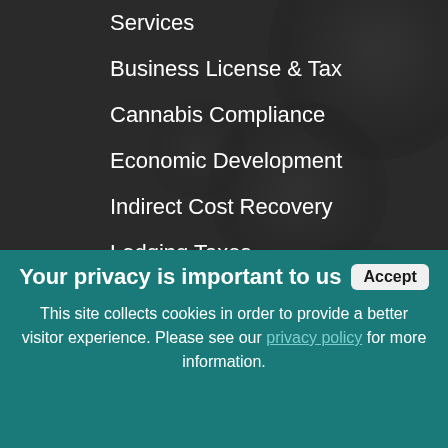Services
Business License & Tax
Cannabis Compliance
Economic Development
Indirect Cost Recovery
Lodging Taxes
Property Tax
Sales Tax
Software
Your privacy is important to us Accept
This site collects cookies in order to provide a better visitor experience. Please see our privacy policy for more information.